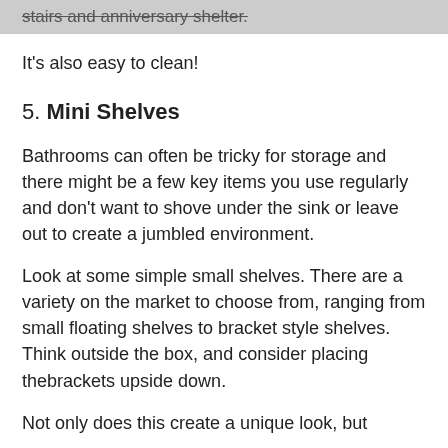stairs and anniversary shelter.
It's also easy to clean!
5. Mini Shelves
Bathrooms can often be tricky for storage and there might be a few key items you use regularly and don't want to shove under the sink or leave out to create a jumbled environment.
Look at some simple small shelves. There are a variety on the market to choose from, ranging from small floating shelves to bracket style shelves. Think outside the box, and consider placing thebrackets upside down.
Not only does this create a unique look, but